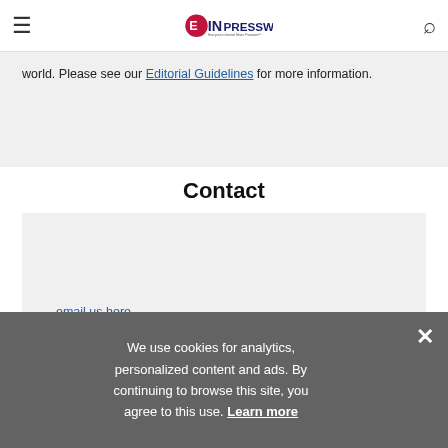EIN PRESSWIRE — Everyone's Internet News Presswire
world. Please see our Editorial Guidelines for more information.
Contact
email us here
More From This Source
We use cookies for analytics, personalized content and ads. By continuing to browse this site, you agree to this use. Learn more